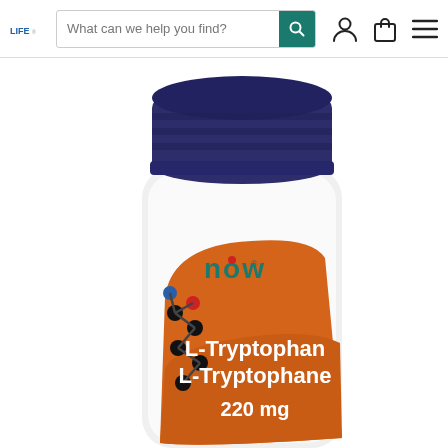What can we help you find? [search bar with icons for account, cart, menu]
[Figure (photo): Product photo of a NOW Foods supplement bottle with a dark navy blue cap on a white bottle. The label shows an orange swoosh design with the NOW logo in teal, a molecular structure graphic, and text reading 'L-Tryptophan L-Tryptophane 220 mg'.]